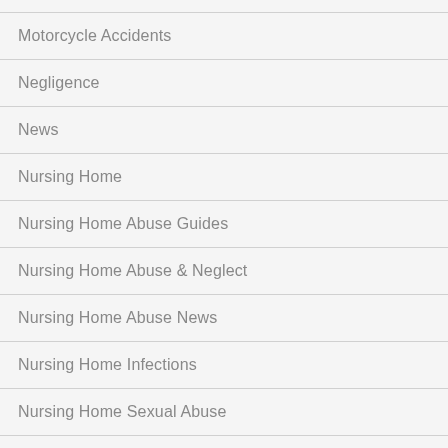Motorcycle Accidents
Negligence
News
Nursing Home
Nursing Home Abuse Guides
Nursing Home Abuse & Neglect
Nursing Home Abuse News
Nursing Home Infections
Nursing Home Sexual Abuse
Nursing Homes
Ordinary Negligence